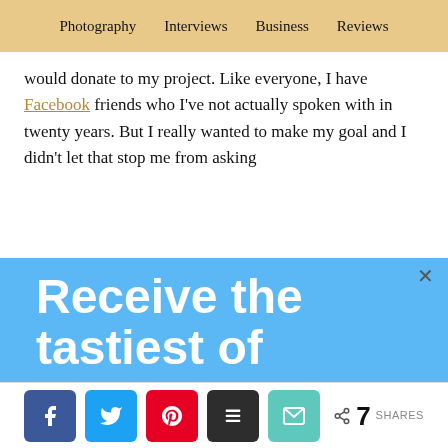Photography  Interviews  Business  Reviews
would donate to my project. Like everyone, I have Facebook friends who I've not actually spoken with in twenty years. But I really wanted to make my goal and I didn't let that stop me from asking
Receive the tastiest of Tiffinbox Treats. Yum!!
Be the first to know about the latest interviews with industry leaders who will help you make an impact.
7 SHARES